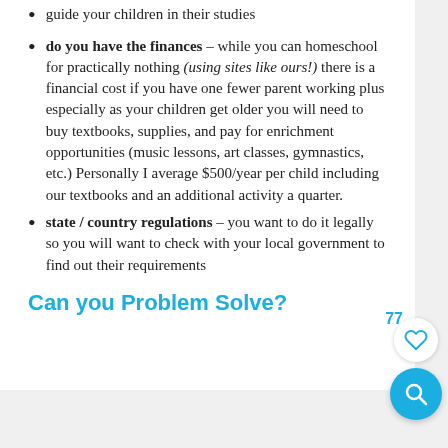guide your children in their studies
do you have the finances – while you can homeschool for practically nothing (using sites like ours!) there is a financial cost if you have one fewer parent working plus especially as your children get older you will need to buy textbooks, supplies, and pay for enrichment opportunities (music lessons, art classes, gymnastics, etc.) Personally I average $500/year per child including our textbooks and an additional activity a quarter.
state / country regulations – you want to do it legally so you will want to check with your local government to find out their requirements
Can you Problem Solve?